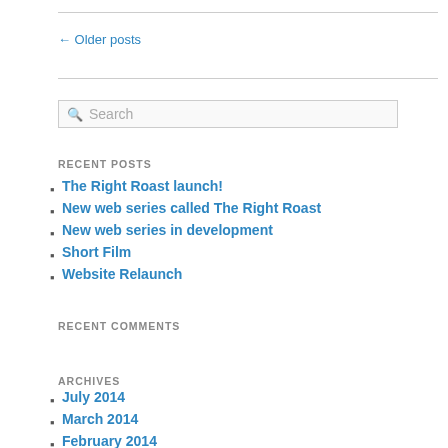← Older posts
Search
RECENT POSTS
The Right Roast launch!
New web series called The Right Roast
New web series in development
Short Film
Website Relaunch
RECENT COMMENTS
ARCHIVES
July 2014
March 2014
February 2014